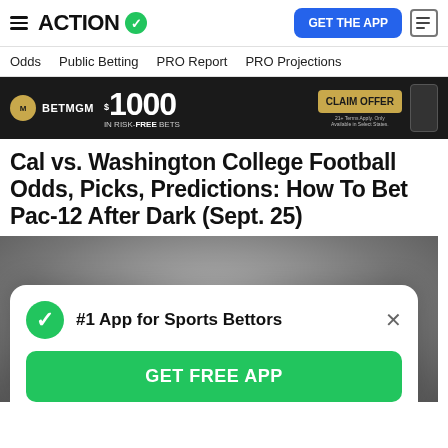ACTION — GET THE APP
Odds   Public Betting   PRO Report   PRO Projections
[Figure (infographic): BetMGM advertisement banner: $1000 IN RISK-FREE BETS, CLAIM OFFER]
Cal vs. Washington College Football Odds, Picks, Predictions: How To Bet Pac-12 After Dark (Sept. 25)
[Figure (photo): Blurred photo of football players on field, partially visible behind popup]
#1 App for Sports Bettors  GET FREE APP